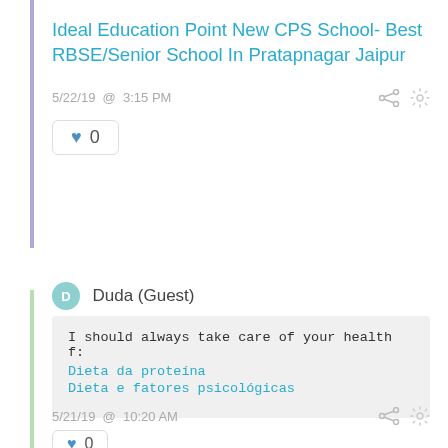Ideal Education Point New CPS School- Best RBSE/Senior School In Pratapnagar Jaipur
5/22/19 @ 3:15 PM
0
Duda (Guest)
I should always take care of your health f:
Dieta da proteína
Dieta e fatores psicológicas
5/21/19 @ 10:20 AM
0